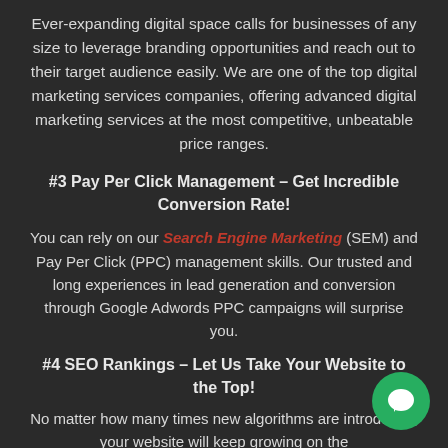Ever-expanding digital space calls for businesses of any size to leverage branding opportunities and reach out to their target audience easily. We are one of the top digital marketing services companies, offering advanced digital marketing services at the most competitive, unbeatable price ranges.
#3 Pay Per Click Management – Get Incredible Conversion Rate!
You can rely on our Search Engine Marketing (SEM) and Pay Per Click (PPC) management skills. Our trusted and long experiences in lead generation and conversion through Google Adwords PPC campaigns will surprise you.
#4 SEO Rankings – Let Us Take Your Website to the Top!
No matter how many times new algorithms are introduced, your website will keep growing on the